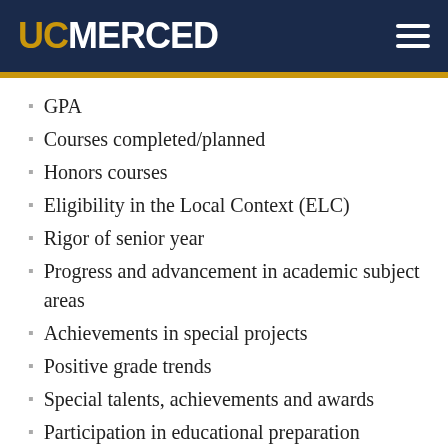UC MERCED
GPA
Courses completed/planned
Honors courses
Eligibility in the Local Context (ELC)
Rigor of senior year
Progress and advancement in academic subject areas
Achievements in special projects
Positive grade trends
Special talents, achievements and awards
Participation in educational preparation programs
Aptitude to excel in academics framed by experiences